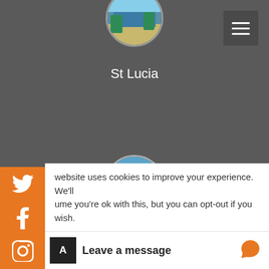[Figure (photo): Circular thumbnail of St Lucia beach/resort scene at top]
St Lucia
[Figure (photo): Circular thumbnail of Barbados beach with palm trees]
Barbados
[Figure (photo): Circular thumbnail of a boat on water]
[Figure (screenshot): Orange social media sidebar with Twitter, Facebook, Instagram, LinkedIn icons]
website uses cookies to improve your experience. We'll ume you're ok with this, but you can opt-out if you wish.
Leave a message